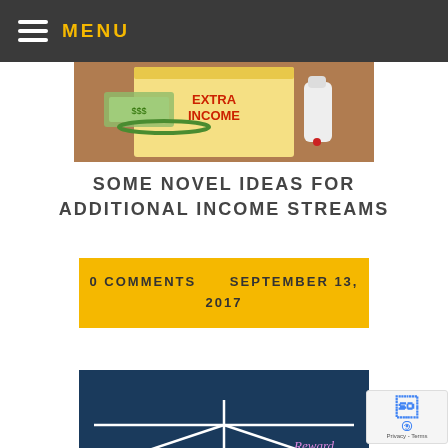MENU
[Figure (photo): Photo of a notebook with 'Extra Income' written on it with money and a bottle of correction fluid nearby.]
SOME NOVEL IDEAS FOR ADDITIONAL INCOME STREAMS
0 COMMENTS     SEPTEMBER 13, 2017
[Figure (photo): A chalkboard drawing showing a balance/seesaw with 'Risk' on the left and 'Reward' on the right, with a hand holding chalk.]